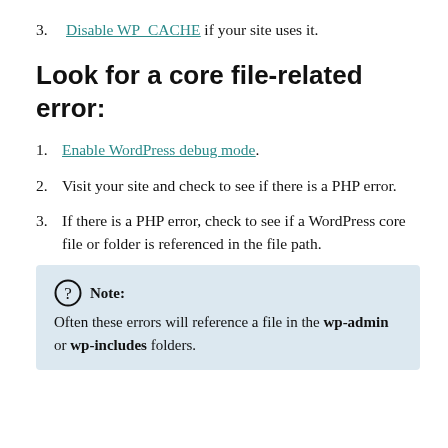3. Disable WP_CACHE if your site uses it.
Look for a core file-related error:
1. Enable WordPress debug mode.
2. Visit your site and check to see if there is a PHP error.
3. If there is a PHP error, check to see if a WordPress core file or folder is referenced in the file path.
Note: Often these errors will reference a file in the wp-admin or wp-includes folders.